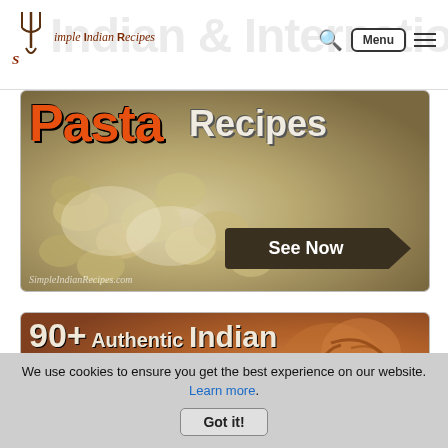Simple Indian Recipes
[Figure (photo): Pasta Recipes banner with creamy pasta photo, orange 'Pasta' title text, white 'Recipes' text, and a 'See Now' arrow button. Watermark: SimpleIndianRecipes.com]
[Figure (photo): 90+ Authentic Indian Snacks banner with fried snack food photo, large orange 'Snacks' text and cream '90+ Authentic Indian' text overlay]
We use cookies to ensure you get the best experience on our website. Learn more. Got it!